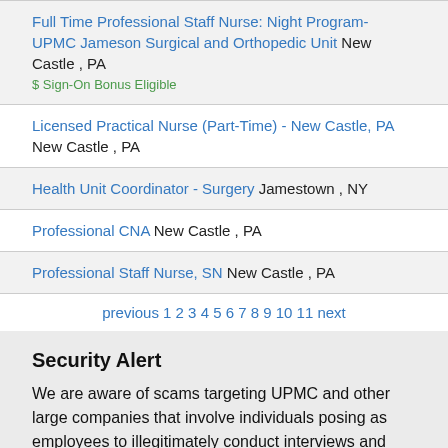Full Time Professional Staff Nurse: Night Program- UPMC Jameson Surgical and Orthopedic Unit New Castle , PA $ Sign-On Bonus Eligible
Licensed Practical Nurse (Part-Time) - New Castle, PA New Castle , PA
Health Unit Coordinator - Surgery Jamestown , NY
Professional CNA New Castle , PA
Professional Staff Nurse, SN New Castle , PA
previous 1 2 3 4 5 6 7 8 9 10 11 next
Security Alert
We are aware of scams targeting UPMC and other large companies that involve individuals posing as employees to illegitimately conduct interviews and extend false employment offers and payments to gain access to candidates' personal information. Please note that UPMC will not communicate with candidates through third-party